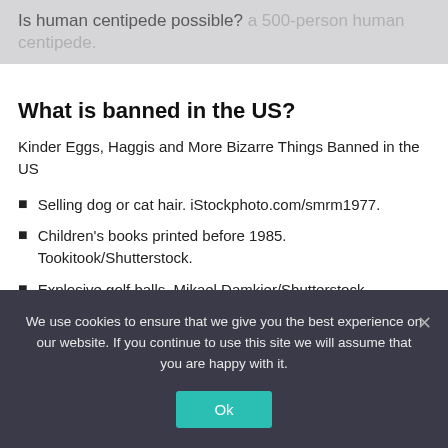Is human centipede possible? ...a 500-person human centipede.
What is banned in the US?
Kinder Eggs, Haggis and More Bizarre Things Banned in the US
Selling dog or cat hair. iStockphoto.com/smrm1977.
Children's books printed before 1985. Tookitook/Shutterstock.
Explosive golf balls. Mikael Damkier/Shutterstock.
We use cookies to ensure that we give you the best experience on our website. If you continue to use this site we will assume that you are happy with it.